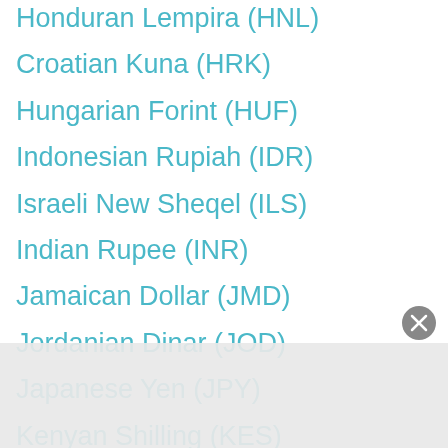Honduran Lempira (HNL)
Croatian Kuna (HRK)
Hungarian Forint (HUF)
Indonesian Rupiah (IDR)
Israeli New Sheqel (ILS)
Indian Rupee (INR)
Jamaican Dollar (JMD)
Jordanian Dinar (JOD)
Japanese Yen (JPY)
Kenyan Shilling (KES)
South Korean Won (KRW)
Kuwaiti Dinar (KWD)